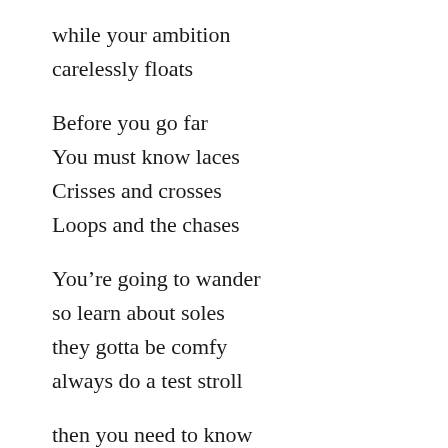while your ambition
carelessly floats
Before you go far
You must know laces
Crisses and crosses
Loops and the chases
You’re going to wander
so learn about soles
they gotta be comfy
always do a test stroll
then you need to know
when to walk when to run